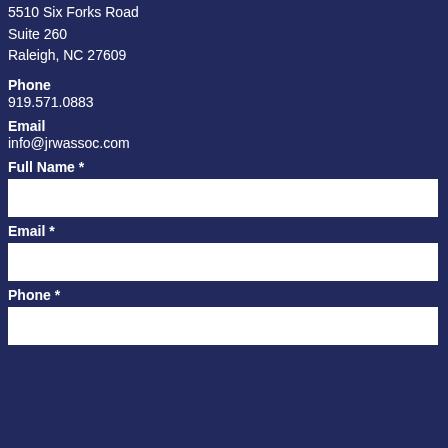5510 Six Forks Road
Suite 260
Raleigh, NC 27609
Phone
919.571.0883
Email
info@jrwassoc.com
Full Name *
[Figure (other): White input text box for Full Name field]
Email *
[Figure (other): White input text box for Email field]
Phone *
[Figure (other): White input text box for Phone field]